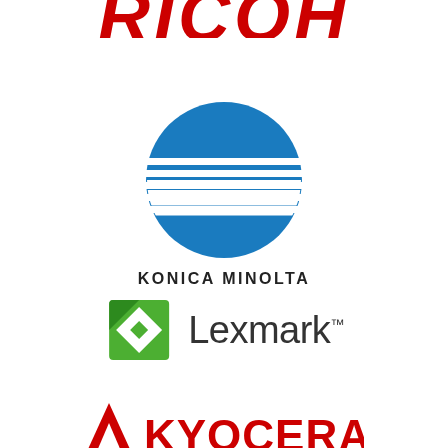[Figure (logo): Ricoh logo – bold red italic letters partially visible at top of page]
[Figure (logo): Konica Minolta logo – blue sphere with white horizontal stripes, text KONICA MINOLTA in dark grey uppercase sans-serif below]
[Figure (logo): Lexmark logo – green diamond/square icon with white diamond cutout, text Lexmark in dark grey sans-serif with TM superscript]
[Figure (logo): Kyocera logo – red geometric triangular icon partially visible at bottom of page with partial text KYOCERA]